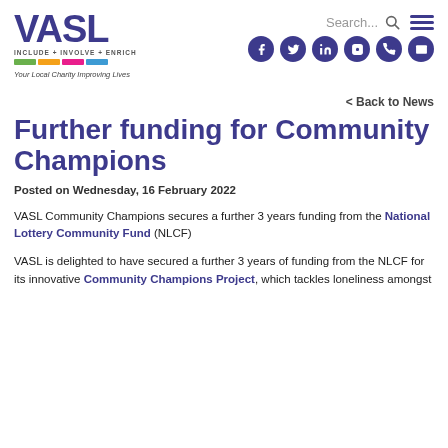VASL - INCLUDE + INVOLVE + ENRICH - Your Local Charity Improving Lives
< Back to News
Further funding for Community Champions
Posted on Wednesday, 16 February 2022
VASL Community Champions secures a further 3 years funding from the National Lottery Community Fund (NLCF)
VASL is delighted to have secured a further 3 years of funding from the NLCF for its innovative Community Champions Project, which tackles loneliness amongst